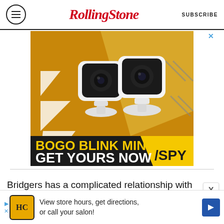Rolling Stone | SUBSCRIBE
[Figure (photo): Advertisement for Blink Mini security cameras showing two white mini cameras on a gold/yellow background with text 'BOGO BLINK MINIS GET YOURS NOW' and SPY logo]
Bridgers has a complicated relationship with the
[Figure (photo): Bottom advertisement banner with HC logo and text: View store hours, get directions, or call your salon!]